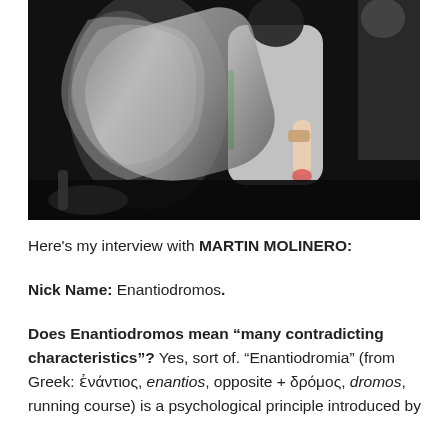[Figure (photo): Black and white action photo of people in motion, one person carrying a child, dramatic blurred movement in a dark indoor setting]
Here's my interview with MARTIN MOLINERO:
Nick Name: Enantiodromos.
Does Enantiodromos mean “many contradicting characteristics”? Yes, sort of. “Enantiodromia” (from Greek: ἐνάντιος, enantios, opposite + δρόμος, dromos, running course) is a psychological principle introduced by